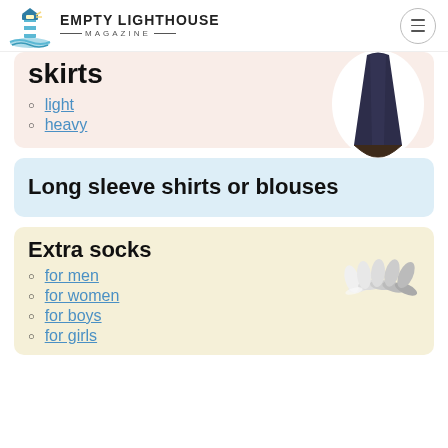Empty Lighthouse Magazine
skirts
light
heavy
[Figure (photo): Dark navy pleated maxi skirt on white circular background]
Long sleeve shirts or blouses
Extra socks
for men
for women
for boys
for girls
[Figure (photo): Multiple pairs of white ankle socks fanned out]